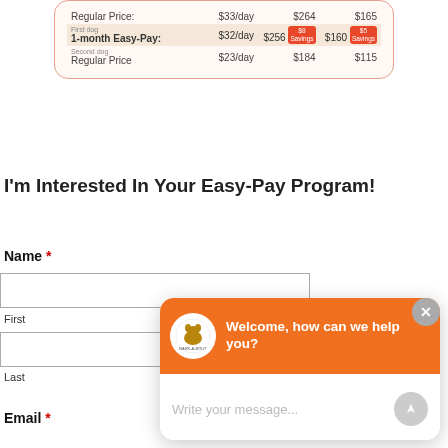|  | /day | 8-wk | 5-wk |
| --- | --- | --- | --- |
| Regular Price: | $33/day | $264 | $165 |
| First dog 1-month Easy-Pay: | $32/day | $256 $8 Savings | $160 $5 Savings |
| Second dog Regular Price | $23/day | $184 | $115 |
I'm Interested In Your Easy-Pay Program!
Name *
First
Last
Email *
[Figure (screenshot): Chat popup overlay with orange header showing Bark-A-Bout logo and 'Welcome, how can we help you?' text, white body with 'Write your message...' placeholder input and a send button, and a gray X close button in top right corner.]